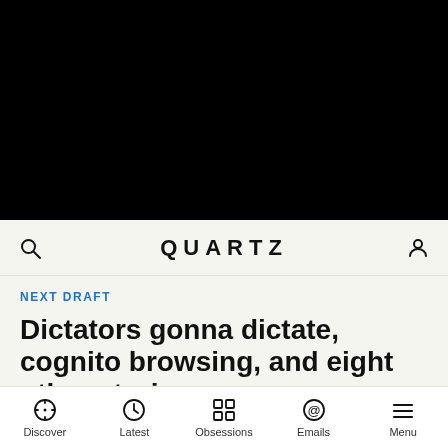[Figure (photo): Black hero image area at the top of the page]
QUARTZ
NEXT DRAFT
Dictators gonna dictate, cognito browsing, and eight other stories
Discover  Latest  Obsessions  Emails  Menu